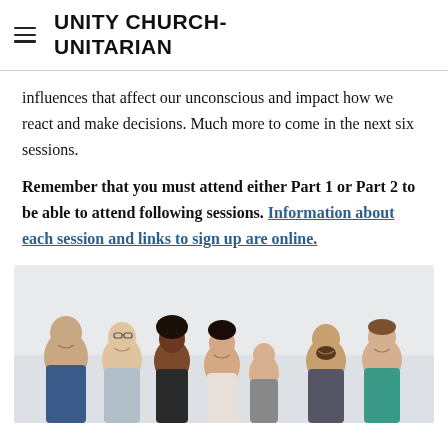UNITY CHURCH-UNITARIAN
influences that affect our unconscious and impact how we react and make decisions. Much more to come in the next six sessions.
Remember that you must attend either Part 1 or Part 2 to be able to attend following sessions. Information about each session and links to sign up are online.
[Figure (photo): Group photo of seven diverse adults smiling, standing together against a light gray/white wall background.]